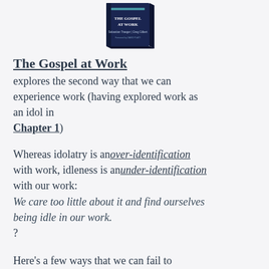[Figure (photo): Book cover of 'The Gospel at Work' by Sebastian Traeger and Greg Gilbert, foreword by David Platt. Dark navy blue cover.]
The Gospel at Work explores the second way that we can experience work (having explored work as an idol in Chapter 1)
Whereas idolatry is an over-identification with work, idleness is an under-identification with our work: We care too little about it and find ourselves being idle in our work. ?
Here's a few ways that we can fail to experience God's grace in our work...